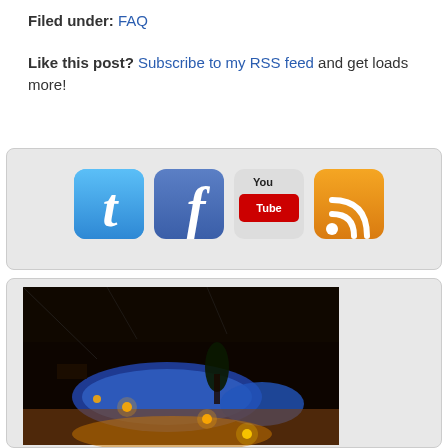Filed under: FAQ
Like this post? Subscribe to my RSS feed and get loads more!
[Figure (screenshot): Social media icons: Twitter (blue bird), Facebook (blue f), YouTube (red/white), RSS feed (orange)]
[Figure (photo): Nighttime illuminated swimming pool with hot tub, candles/lights around the edges, dark enclosure overhead]